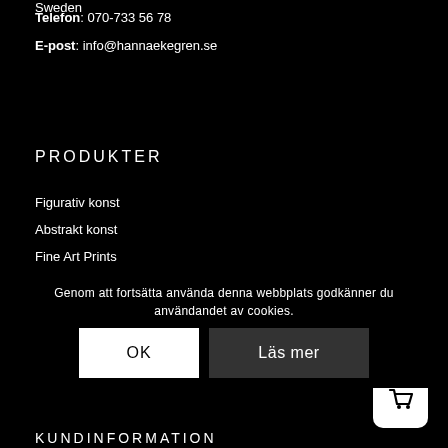Sweden
Telefon: 070-733 56 78
E-post: info@hannaekegren.se
PRODUKTER
Figurativ konst
Abstrakt konst
Fine Art Prints
Konsttryck och posters
Kuddar
Böcker
Genom att fortsätta använda denna webbplats godkänner du användandet av cookies.
OK
Läs mer
KUNDINFORMATION